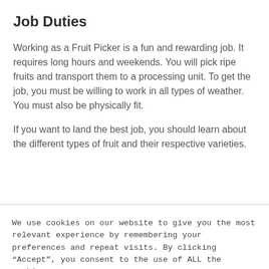Job Duties
Working as a Fruit Picker is a fun and rewarding job. It requires long hours and weekends. You will pick ripe fruits and transport them to a processing unit. To get the job, you must be willing to work in all types of weather. You must also be physically fit.
If you want to land the best job, you should learn about the different types of fruit and their respective varieties.
We use cookies on our website to give you the most relevant experience by remembering your preferences and repeat visits. By clicking “Accept”, you consent to the use of ALL the cookies.
Reject.
Cookie Settings   Accept